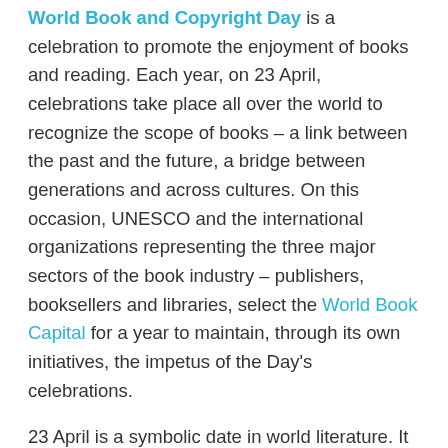World Book and Copyright Day is a celebration to promote the enjoyment of books and reading. Each year, on 23 April, celebrations take place all over the world to recognize the scope of books – a link between the past and the future, a bridge between generations and across cultures. On this occasion, UNESCO and the international organizations representing the three major sectors of the book industry – publishers, booksellers and libraries, select the World Book Capital for a year to maintain, through its own initiatives, the impetus of the Day's celebrations.
23 April is a symbolic date in world literature. It is the date on which several prominent authors, William Shakespeare, Miguel de Cervantes and Inca Garcilaso de la Vega all died in association or not...